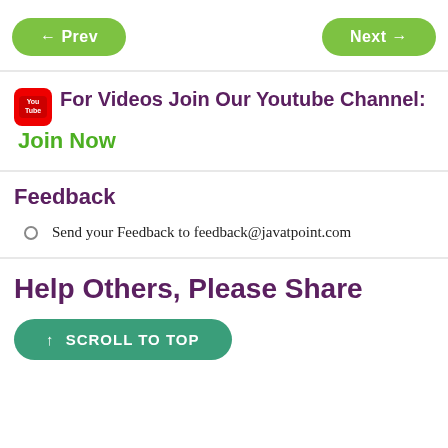← Prev
Next →
For Videos Join Our Youtube Channel: Join Now
Feedback
Send your Feedback to feedback@javatpoint.com
Help Others, Please Share
↑ SCROLL TO TOP